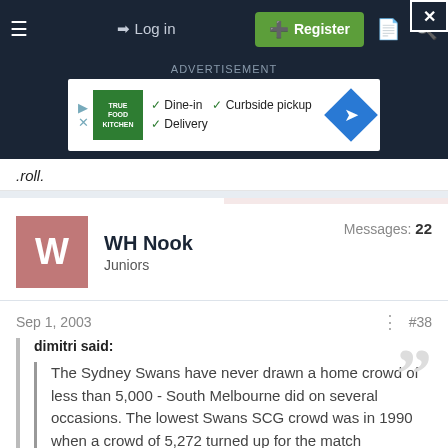[Figure (screenshot): Advertisement banner for True Food Kitchen showing Dine-in, Curbside pickup, and Delivery options]
ADVERTISEMENT
.roll.
WH Nook
Juniors
Messages: 22
Sep 1, 2003   #38
dimitri said:
The Sydney Swans have never drawn a home crowd of less than 5,000 - South Melbourne did on several occasions. The lowest Swans SCG crowd was in 1990 when a crowd of 5,272 turned up for the match against the Brisbane Bears.